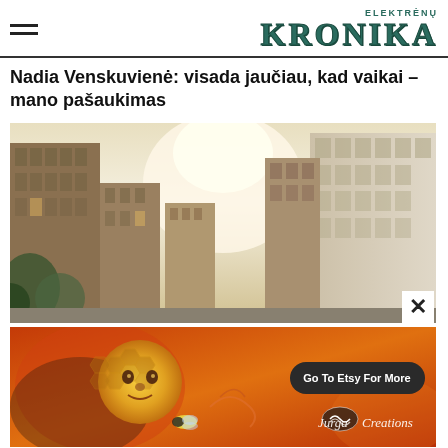ELEKTRĖNŲ KRONIKA
Nadia Venskuvienė: visada jaučiau, kad vaikai – mano pašaukimas
[Figure (photo): Street view photograph of tall urban buildings/skyscrapers with bright sky visible between them, taken from street level looking up]
[Figure (photo): Advertisement banner for Jurga Creations on Etsy, featuring colorful folk art painting with sun face and bee motif, with button 'Go To Etsy For More' and Jurga Creations logo]